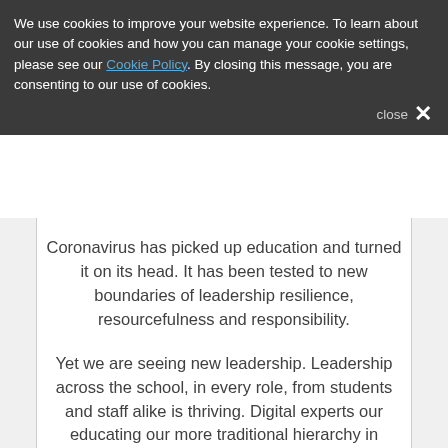We use cookies to improve your website experience. To learn about our use of cookies and how you can manage your cookie settings, please see our Cookie Policy. By closing this message, you are consenting to our use of cookies.
close ×
Coronavirus has picked up education and turned it on its head. It has been tested to new boundaries of leadership resilience, resourcefulness and responsibility.
Yet we are seeing new leadership. Leadership across the school, in every role, from students and staff alike is thriving. Digital experts our educating our more traditional hierarchy in educational settings. They are coming from in and out of school settings.
With Easter come and gone, despite some